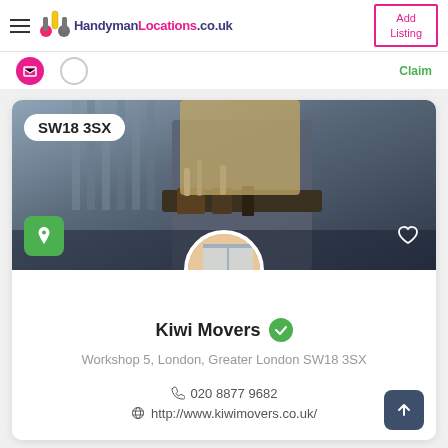HandymanLocations.co.uk — Add Listing
[Figure (screenshot): Website listing card for Kiwi Movers on HandymanLocations.co.uk. Shows a hero image of a handyman worker with tools on belt, a postcode badge SW18 3SX, a green location pin button, a heart icon, and a circular profile photo of a handyman.]
Kiwi Movers
Workshop 5, London, Greater London SW18 3SX
020 8877 9682
http://www.kiwimovers.co.uk/